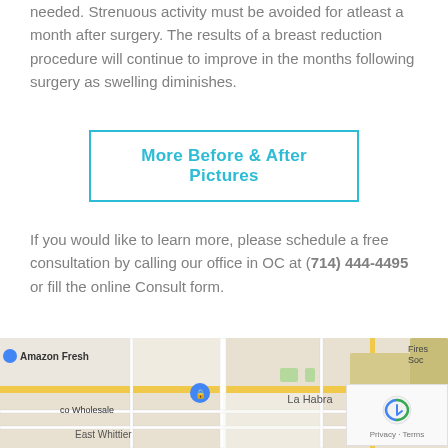needed. Strenuous activity must be avoided for atleast a month after surgery. The results of a breast reduction procedure will continue to improve in the months following surgery as swelling diminishes.
More Before & After Pictures
If you would like to learn more, please schedule a free consultation by calling our office in OC at (714) 444-4495 or fill the online Consult form.
[Figure (map): Google Maps screenshot showing La Habra area with Amazon Fresh, Costco Wholesale, East Whittier labels and route 57 marker visible]